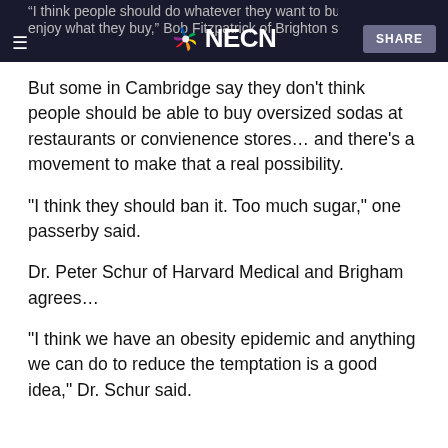NECN — hamburger menu, NBC peacock logo, SHARE button
"I think people should do whatever they want to buy and enjoy what they buy," Bob Fitzpatrick of Brighton said.
But some in Cambridge say they don't think people should be able to buy oversized sodas at restaurants or convienence stores… and there's a movement to make that a real possibility.
"I think they should ban it. Too much sugar," one passerby said.
Dr. Peter Schur of Harvard Medical and Brigham agrees…
"I think we have an obesity epidemic and anything we can do to reduce the temptation is a good idea," Dr. Schur said.